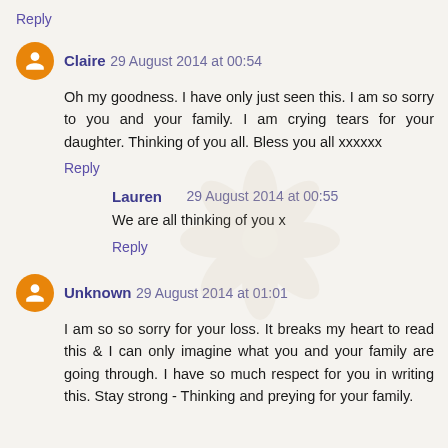Reply
Claire 29 August 2014 at 00:54
Oh my goodness. I have only just seen this. I am so sorry to you and your family. I am crying tears for your daughter. Thinking of you all. Bless you all xxxxxx
Reply
Lauren 29 August 2014 at 00:55
We are all thinking of you x
Reply
Unknown 29 August 2014 at 01:01
I am so so sorry for your loss. It breaks my heart to read this & I can only imagine what you and your family are going through. I have so much respect for you in writing this. Stay strong - Thinking and preying for your family.